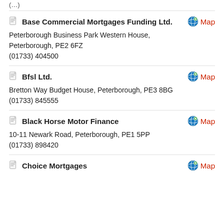(…)
Base Commercial Mortgages Funding Ltd.
Peterborough Business Park Western House, Peterborough, PE2 6FZ
(01733) 404500
Bfsl Ltd.
Bretton Way Budget House, Peterborough, PE3 8BG
(01733) 845555
Black Horse Motor Finance
10-11 Newark Road, Peterborough, PE1 5PP
(01733) 898420
Choice Mortgages